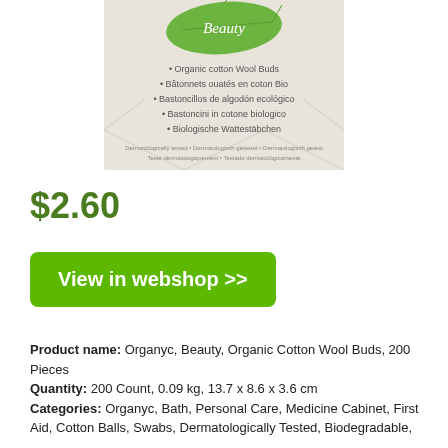[Figure (photo): Product image of Organyc Beauty Organic Cotton Wool Buds box. Beige/cream colored box with a green leaf logo and the word 'Beauty' in script. Text on box lists: Organic cotton Wool Buds, Bâtonnets ouatés en coton Bio, Bastoncillos de algodón ecológico, Bastoncini in cotone biologico, Biologische Wattestäbchen. Small text at bottom: Dermatologically tested.]
$2.60
View in webshop >>
Product name: Organyc, Beauty, Organic Cotton Wool Buds, 200 Pieces
Quantity: 200 Count, 0.09 kg, 13.7 x 8.6 x 3.6 cm
Categories: Organyc, Bath, Personal Care, Medicine Cabinet, First Aid, Cotton Balls, Swabs, Dermatologically Tested, Biodegradable,